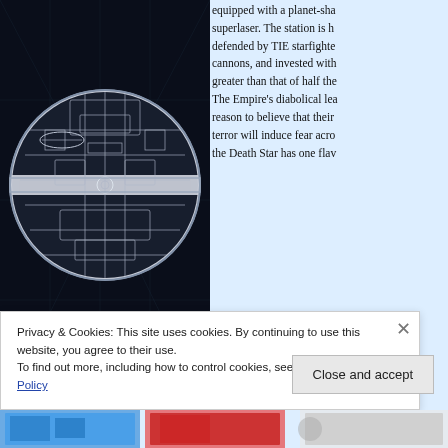[Figure (illustration): Book cover showing a cross-section illustration of the Death Star (from Star Wars) on a dark background. Authors listed: Ryder Windham, Chris Reiff, and Chris Trevas.]
equipped with a planet-sha superlaser. The station is h defended by TIE starfighte cannons, and invested with greater than that of half the The Empire's diabolical lea reason to believe that their terror will induce fear acro the Death Star has one flav
This Haynes Manual traces the origins of the Death Star, from concept to a project that begins before the foundation of the Empire, which draws desig from the Trade Federation's spherical warships. In this manual, the Death systems and controls are explained in detail, and are illustrated with an ast computer-generated artwork, floor plans, cutaways, and exploded diagram
Privacy & Cookies: This site uses cookies. By continuing to use this website, you agree to their use.
To find out more, including how to control cookies, see here: Cookie Policy
Close and accept